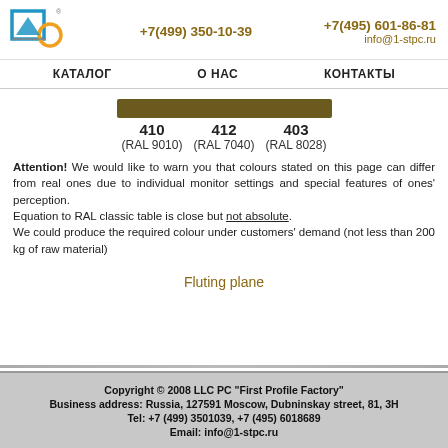+7(499) 350-10-39  +7(495) 601-86-81  info@1-stpc.ru
КАТАЛОГ   О НАС   КОНТАКТЫ
[Figure (other): Color swatch bar in dark brown/olive color representing RAL 8028]
410 (RAL 9010)  412 (RAL 7040)  403 (RAL 8028)
Attention! We would like to warn you that colours stated on this page can differ from real ones due to individual monitor settings and special features of ones' perception.
Equation to RAL classic table is close but not absolute.
We could produce the required colour under customers' demand (not less than 200 kg of raw material)
Fluting plane
Copyright © 2008 LLC PC "First Profile Factory"
Business address: Russia, 127591 Moscow, Dubninskay street, 81, 3H
Tel: +7 (499) 3501039, +7 (495) 6018689
Email: info@1-stpc.ru